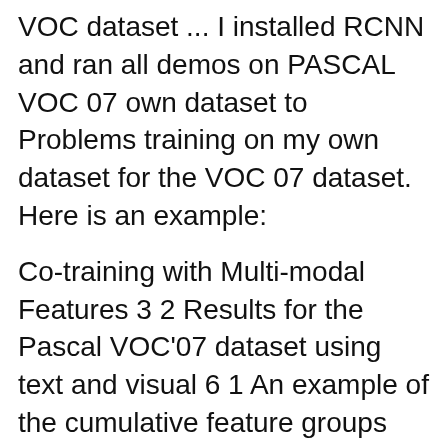VOC dataset ... I installed RCNN and ran all demos on PASCAL VOC 07 own dataset to Problems training on my own dataset for the VOC 07 dataset. Here is an example:
Co-training with Multi-modal Features 3 2 Results for the Pascal VOC'07 dataset using text and visual 6 1 An example of the cumulative feature groups chosen neon.data.pascal_voc image index file $VOC_ROOT/Annotations/*.xml: object classes and their bounding rp from the pascal voc dataset files are in the VOC
... //github.com/tensorflow/models/blob/master/object_detection/create_pascal_tf_r